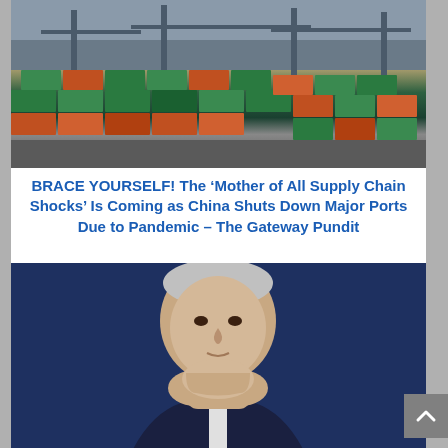[Figure (photo): Aerial or ground-level view of a shipping port with stacked colorful cargo containers and large cranes]
BRACE YOURSELF! The ‘Mother of All Supply Chain Shocks’ Is Coming as China Shuts Down Major Ports Due to Pandemic – The Gateway Pundit
[Figure (photo): Joe Biden in a dark suit, sitting with hands clasped near his chin, looking pensive against a blue background]
Axios: Biden ‘Bombed Big-Time on Things That Matter Most’ – NewsMax